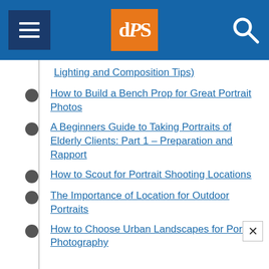dPS (digital Photography School) header with menu and search
Lighting and Composition Tips)
How to Build a Bench Prop for Great Portrait Photos
A Beginners Guide to Taking Portraits of Elderly Clients: Part 1 – Preparation and Rapport
How to Scout for Portrait Shooting Locations
The Importance of Location for Outdoor Portraits
How to Choose Urban Landscapes for Portrait Photography